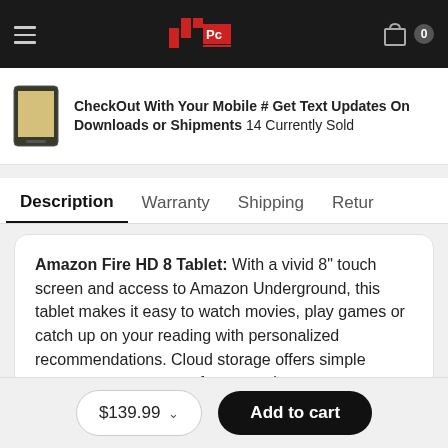Navigation header with logo and cart icon showing 0 items
CheckOut With Your Mobile # Get Text Updates On Downloads or Shipments 14 Currently Sold
Description  Warranty  Shipping  Retur
Amazon Fire HD 8 Tablet: With a vivid 8" touch screen and access to Amazon Underground, this tablet makes it easy to watch movies, play games or catch up on your reading with personalized recommendations. Cloud storage offers simple access to your content from anywhere.
$139.99  Add to cart